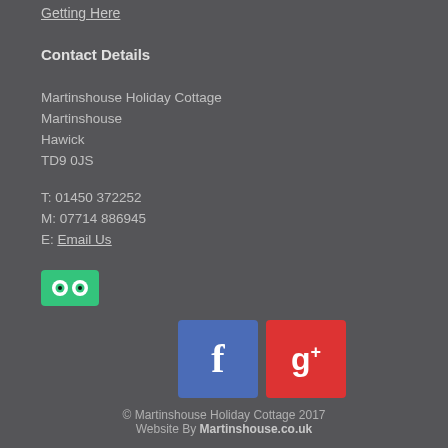Getting Here
Contact Details
Martinshouse Holiday Cottage
Martinshouse
Hawick
TD9 0JS
T: 01450 372252
M: 07714 886945
E: Email Us
[Figure (logo): TripAdvisor logo button (green background with owl eyes icon)]
[Figure (logo): Facebook and Google+ social media icon buttons]
© Martinshouse Holiday Cottage 2017
Website By Martinshouse.co.uk